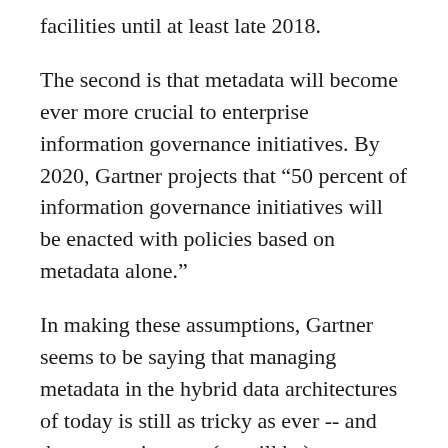facilities until at least late 2018.
The second is that metadata will become ever more crucial to enterprise information governance initiatives. By 2020, Gartner projects that “50 percent of information governance initiatives will be enacted with policies based on metadata alone.”
In making these assumptions, Gartner seems to be saying that managing metadata in the hybrid data architectures of today is still as tricky as ever -- and that enterprises are (or will be) more dependent on metadata standards and definitions than ever before.
These assumptions aren’t necessarily in conflict with one another.